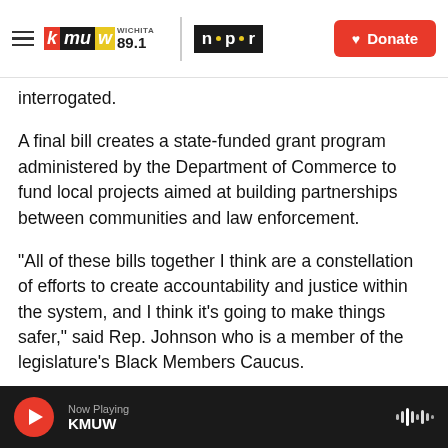KMUW Wichita 89.1 | NPR | Donate
interrogated.
A final bill creates a state-funded grant program administered by the Department of Commerce to fund local projects aimed at building partnerships between communities and law enforcement.
"All of these bills together I think are a constellation of efforts to create accountability and justice within the system, and I think it's going to make things safer," said Rep. Johnson who is a member of the legislature's Black Members Caucus.
Many Republicans, though, disagreed. In fact, state
Now Playing KMUW